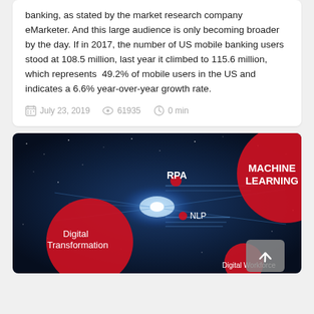banking, as stated by the market research company eMarketer. And this large audience is only becoming broader by the day. If in 2017, the number of US mobile banking users stood at 108.5 million, last year it climbed to 115.6 million, which represents 49.2% of mobile users in the US and indicates a 6.6% year-over-year growth rate.
July 23, 2019  61935  0 min
[Figure (illustration): Dark blue tech background with glowing light burst and red circles. Text labels: RPA, MACHINE LEARNING, Digital Transformation, NLP, Digital Workforce. A back-to-top arrow button is visible in the bottom right corner.]